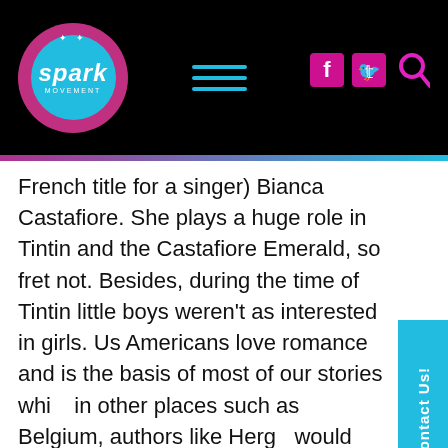[Figure (logo): Spark Movement logo - circular badge with pink outer ring and cyan inner circle with 'spark' text in white italic, with 'movement' subtitle]
Spark Movement website header with logo, hamburger menu, and social icons (Facebook, Twitter, Search)
French title for a singer) Bianca Castafiore. She plays a huge role in Tintin and the Castafiore Emerald, so fret not. Besides, during the time of Tintin little boys weren't as interested in girls. Us Americans love romance and is the basis of most of our stories while in other places such as Belgium, authors like Hergé would have focused more on Tintin's adventures and heroism rather than his love life. Especially since the series is meant for young boys rather than girls. Besides, it would mess up the whole story if a girl was added. I am a girl and I know how you feel, but I think I'd scream if they added a character to a classic series from before you were born. You see, Tintin is just as